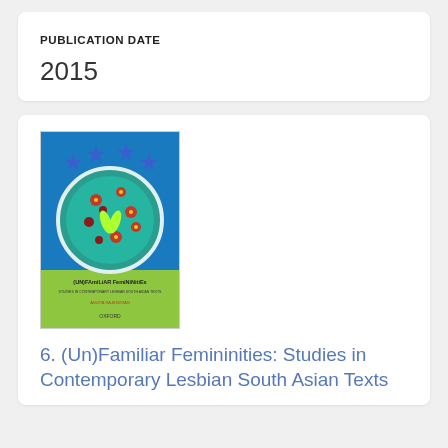PUBLICATION DATE
2015
[Figure (photo): Book cover of '(Un)Familiar Femininities: Studies in Contemporary Lesbian South Asian Texts' published by Oxford, with colorful abstract art on a blue and green background with stars and circular patterns.]
6. (Un)Familiar Femininities: Studies in Contemporary Lesbian South Asian Texts